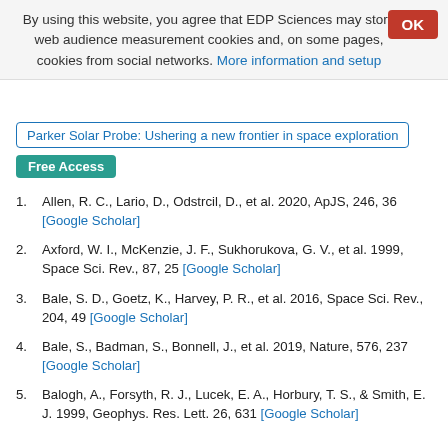By using this website, you agree that EDP Sciences may store web audience measurement cookies and, on some pages, cookies from social networks. More information and setup
Parker Solar Probe: Ushering a new frontier in space exploration
Free Access
1. Allen, R. C., Lario, D., Odstrcil, D., et al. 2020, ApJS, 246, 36 [Google Scholar]
2. Axford, W. I., McKenzie, J. F., Sukhorukova, G. V., et al. 1999, Space Sci. Rev., 87, 25 [Google Scholar]
3. Bale, S. D., Goetz, K., Harvey, P. R., et al. 2016, Space Sci. Rev., 204, 49 [Google Scholar]
4. Bale, S., Badman, S., Bonnell, J., et al. 2019, Nature, 576, 237 [Google Scholar]
5. Balogh, A., Forsyth, R. J., Lucek, E. A., Horbury, T. S., & Smith, E. J. 1999, Geophys. Res. Lett. 26, 631 [Google Scholar]